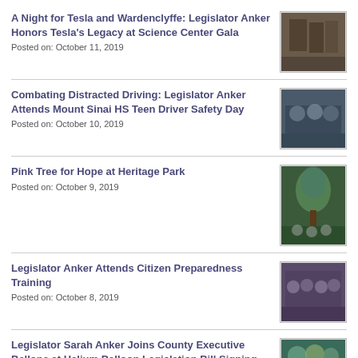A Night for Tesla and Wardenclyffe: Legislator Anker Honors Tesla's Legacy at Science Center Gala
Posted on: October 11, 2019
[Figure (photo): Photo from Tesla and Wardenclyffe Science Center Gala event]
Combating Distracted Driving: Legislator Anker Attends Mount Sinai HS Teen Driver Safety Day
Posted on: October 10, 2019
[Figure (photo): Photo from Mount Sinai HS Teen Driver Safety Day event]
Pink Tree for Hope at Heritage Park
Posted on: October 9, 2019
[Figure (photo): Photo of pink tree at Heritage Park]
Legislator Anker Attends Citizen Preparedness Training
Posted on: October 8, 2019
[Figure (photo): Photo from Citizen Preparedness Training event]
Legislator Sarah Anker Joins County Executive Bellone at Helium Balloon Legislation Bill Signing
[Figure (photo): Photo from Helium Balloon Legislation Bill Signing event]